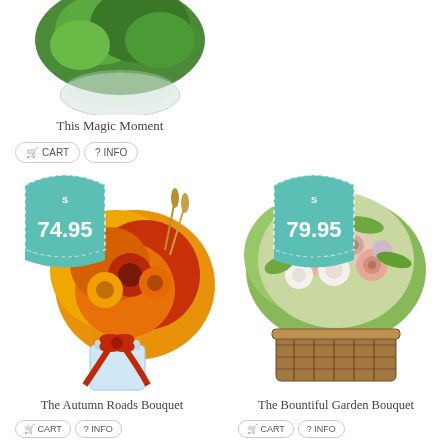[Figure (photo): Partial view of a floral arrangement in a glass bowl with green foliage, cropped at top]
This Magic Moment
CART  ?  INFO
[Figure (photo): Autumn bouquet with yellow and orange chrysanthemums and red flowers in a glass vase with red ribbon, price tag showing $74.95]
[Figure (photo): Bountiful garden bouquet with pink, white, and peach flowers in a wooden basket, price tag showing $79.95]
The Autumn Roads Bouquet
The Bountiful Garden Bouquet
CART  ?  INFO
CART  ?  INFO